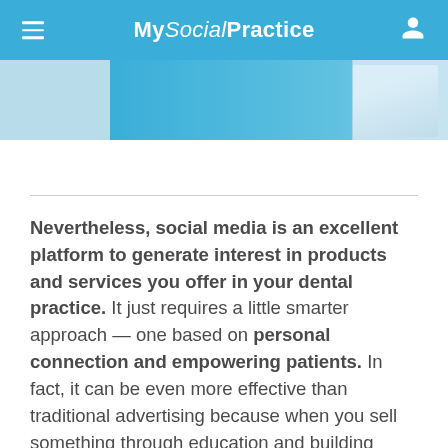My Social Practice
[Figure (photo): Partial view of a website hero image showing a dental practice scene with teal/blue background]
Nevertheless, social media is an excellent platform to generate interest in products and services you offer in your dental practice. It just requires a little smarter approach — one based on personal connection and empowering patients. In fact, it can be even more effective than traditional advertising because when you sell something through education and building trust, you not only create a sale, you increase the